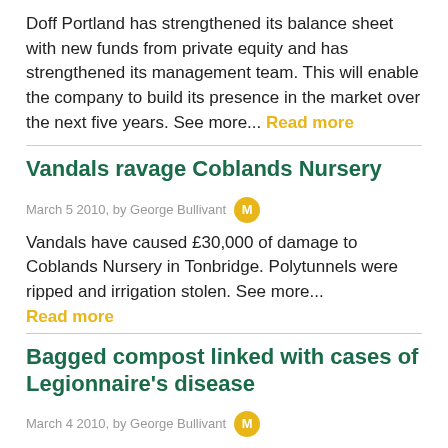Doff Portland has strengthened its balance sheet with new funds from private equity and has strengthened its management team. This will enable the company to build its presence in the market over the next five years. See more... Read more
Vandals ravage Coblands Nursery
March 5 2010, by George Bullivant
Vandals have caused £30,000 of damage to Coblands Nursery in Tonbridge. Polytunnels were ripped and irrigation stolen. See more... Read more
Bagged compost linked with cases of Legionnaire's disease
March 4 2010, by George Bullivant
Health experts have called for better warning labels on potting compost after three cases of legionnaire's disease in Scotland were said to have been linked with the use of bagged compost. See more... Read more
Banks rescue Mountfield and Stiga
March 4 2010, by George Bullivant